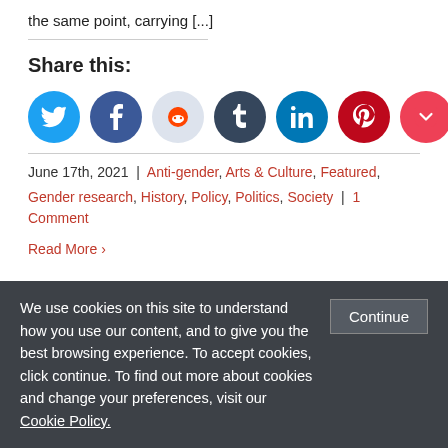the same point, carrying [...]
Share this:
[Figure (other): Social sharing icons: Twitter (blue), Facebook (dark blue), Reddit (light blue), Tumblr (dark navy), LinkedIn (teal), Pinterest (dark red), Pocket (red), Email (gray), Print (gray)]
June 17th, 2021 | Anti-gender, Arts & Culture, Featured,
Gender research, History, Policy, Politics, Society | 1 Comment
Read More ›
We use cookies on this site to understand how you use our content, and to give you the best browsing experience. To accept cookies, click continue. To find out more about cookies and change your preferences, visit our Cookie Policy.